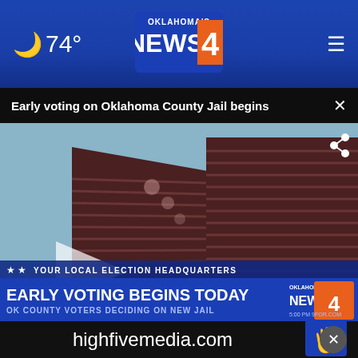74°
[Figure (logo): Oklahoma's News 4 logo in blue header bar]
Early voting on Oklahoma County Jail begins
[Figure (screenshot): Video thumbnail showing Oklahoma County Jail building rendering with lower-third chyron: YOUR LOCAL ELECTION HEADQUARTERS / EARLY VOTING BEGINS TODAY / OK COUNTY VOTERS DECIDING ON NEW JAIL, with Oklahoma's News 4 bug]
[Figure (logo): highfivemedia.com advertisement with hand logo]